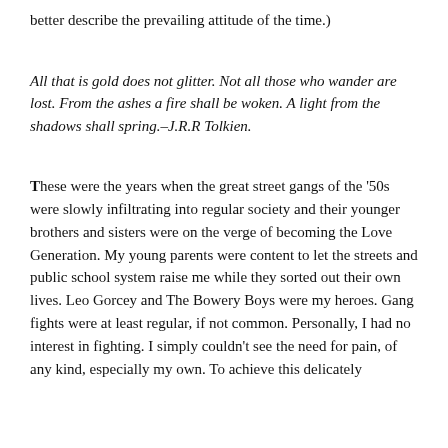better describe the prevailing attitude of the time.)
All that is gold does not glitter. Not all those who wander are lost. From the ashes a fire shall be woken. A light from the shadows shall spring.–J.R.R Tolkien.
These were the years when the great street gangs of the '50s were slowly infiltrating into regular society and their younger brothers and sisters were on the verge of becoming the Love Generation. My young parents were content to let the streets and public school system raise me while they sorted out their own lives. Leo Gorcey and The Bowery Boys were my heroes. Gang fights were at least regular, if not common. Personally, I had no interest in fighting. I simply couldn't see the need for pain, of any kind, especially my own. To achieve this delicately